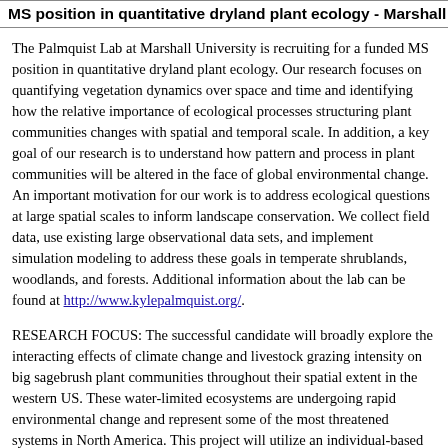MS position in quantitative dryland plant ecology - Marshall U
The Palmquist Lab at Marshall University is recruiting for a funded MS position in quantitative dryland plant ecology. Our research focuses on quantifying vegetation dynamics over space and time and identifying how the relative importance of ecological processes structuring plant communities changes with spatial and temporal scale. In addition, a key goal of our research is to understand how pattern and process in plant communities will be altered in the face of global environmental change. An important motivation for our work is to address ecological questions at large spatial scales to inform landscape conservation. We collect field data, use existing large observational data sets, and implement simulation modeling to address these goals in temperate shrublands, woodlands, and forests. Additional information about the lab can be found at http://www.kylepalmquist.org/.
RESEARCH FOCUS: The successful candidate will broadly explore the interacting effects of climate change and livestock grazing intensity on big sagebrush plant communities throughout their spatial extent in the western US. These water-limited ecosystems are undergoing rapid environmental change and represent some of the most threatened systems in North America. This project will utilize an individual-based plant simulation